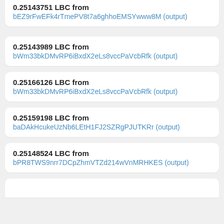0.25143751 LBC from bEZ9rFwEFk4rTmePV8t7a6ghhoEMSYwww8M (output)
0.25143989 LBC from bWm33bkDMvRP6iBxdX2eLs8vccPaVcbRfk (output)
0.25166126 LBC from bWm33bkDMvRP6iBxdX2eLs8vccPaVcbRfk (output)
0.25159198 LBC from baDAkHcukeUzNb6LEtH1FJ2SZRgPJUTKRr (output)
0.25148524 LBC from bPR8TWS9nrr7DCpZhmVTZd214wVnMRHKES (output)